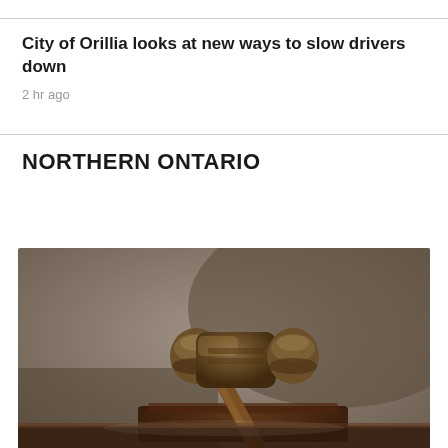City of Orillia looks at new ways to slow drivers down
2 hr ago
NORTHERN ONTARIO
[Figure (photo): Close-up photograph of a wooden judge's gavel resting on its block on a wooden surface, with a blurred background]